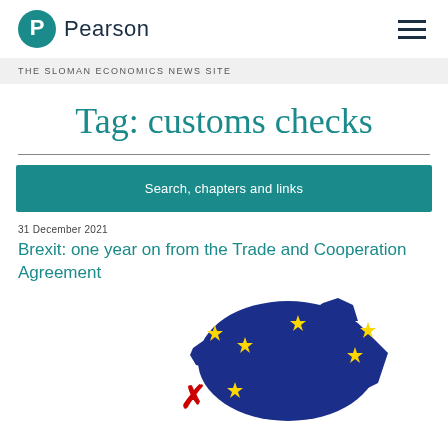[Figure (logo): Pearson logo with teal P circle and 'Pearson' wordmark]
THE SLOMAN ECONOMICS NEWS SITE
Tag: customs checks
Search, chapters and links
31 December 2021
Brexit: one year on from the Trade and Cooperation Agreement
[Figure (illustration): Map of Europe in dark blue with yellow EU stars and red X mark, partial view]